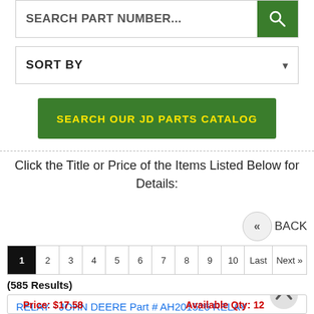[Figure (screenshot): Search part number input field with green search button]
[Figure (screenshot): Sort by dropdown selector]
[Figure (screenshot): Green button labeled SEARCH OUR JD PARTS CATALOG]
Click the Title or Price of the Items Listed Below for Details:
[Figure (screenshot): Back navigation button with double left arrow]
[Figure (screenshot): Pagination row: 1 2 3 4 5 6 7 8 9 10 Last Next]
(585 Results)
RELAY - JOHN DEERE Part # AH201526 RELAY
Price: $17.58
Available Qty: 12